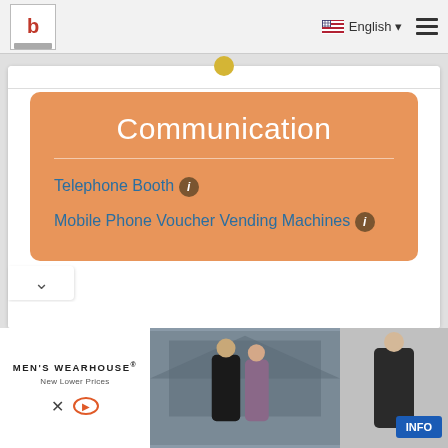b | English ☰
Communication
Telephone Booth ℹ
Mobile Phone Voucher Vending Machines ℹ
[Figure (screenshot): Advertisement banner for Men's Wearhouse featuring a couple in formal wear, a man in a suit, and an INFO button]